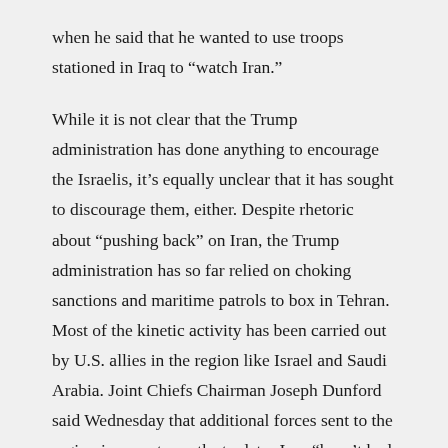when he said that he wanted to use troops stationed in Iraq to “watch Iran.”
While it is not clear that the Trump administration has done anything to encourage the Israelis, it’s equally unclear that it has sought to discourage them, either. Despite rhetoric about “pushing back” on Iran, the Trump administration has so far relied on choking sanctions and maritime patrols to box in Tehran. Most of the kinetic activity has been carried out by U.S. allies in the region like Israel and Saudi Arabia. Joint Chiefs Chairman Joseph Dunford said Wednesday that additional forces sent to the region in recent months to deter Iran “hasnot had a material effect on the actual capacity of the Iranian forces or their proxies.”